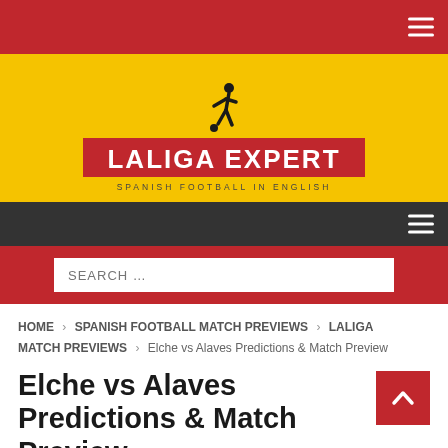[Figure (logo): LaLiga Expert logo - red box with white bold text LALIGA EXPERT, subtitle SPANISH FOOTBALL IN ENGLISH, with football player silhouette above]
HOME > SPANISH FOOTBALL MATCH PREVIEWS > LALIGA MATCH PREVIEWS > Elche vs Alaves Predictions & Match Preview
Elche vs Alaves Predictions & Match Preview